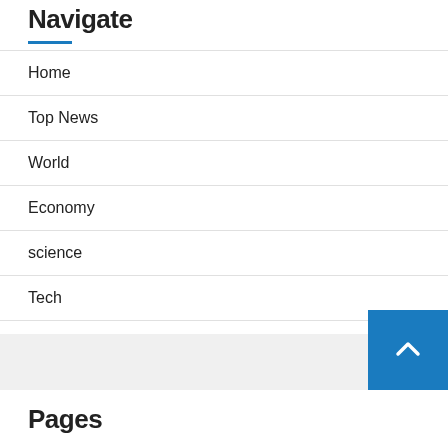Navigate
Home
Top News
World
Economy
science
Tech
sport
entertainment
Contact Form
Pages